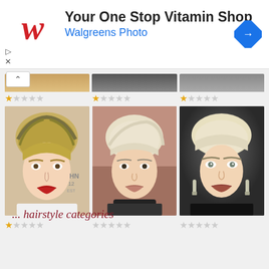[Figure (screenshot): Walgreens advertisement banner: 'Your One Stop Vitamin Shop' with Walgreens Photo subtitle, red cursive W logo, and blue navigation arrow icon]
[Figure (screenshot): Screenshot of a hairstyle gallery app/website showing three portraits of women with short pixie haircuts, with 1-star ratings below each image and '... hairstyle categories' link text]